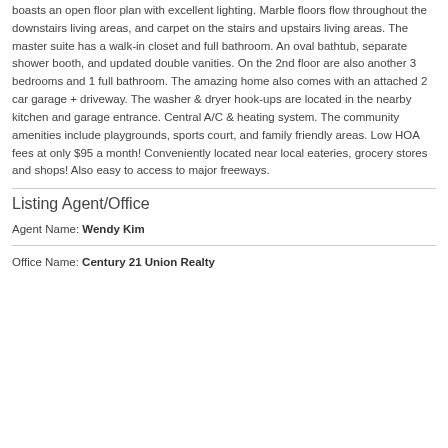boasts an open floor plan with excellent lighting. Marble floors flow throughout the downstairs living areas, and carpet on the stairs and upstairs living areas. The master suite has a walk-in closet and full bathroom. An oval bathtub, separate shower booth, and updated double vanities. On the 2nd floor are also another 3 bedrooms and 1 full bathroom. The amazing home also comes with an attached 2 car garage + driveway. The washer & dryer hook-ups are located in the nearby kitchen and garage entrance. Central A/C & heating system. The community amenities include playgrounds, sports court, and family friendly areas. Low HOA fees at only $95 a month! Conveniently located near local eateries, grocery stores and shops! Also easy to access to major freeways.
Listing Agent/Office
Agent Name: Wendy Kim
Office Name: Century 21 Union Realty